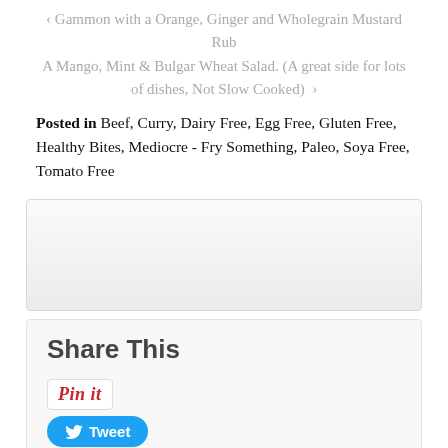‹ Gammon with a Orange, Ginger and Wholegrain Mustard Rub
A Mango, Mint & Bulgar Wheat Salad. (A great side for lots of dishes, Not Slow Cooked) ›
Posted in Beef, Curry, Dairy Free, Egg Free, Gluten Free, Healthy Bites, Mediocre - Fry Something, Paleo, Soya Free, Tomato Free
[Figure (other): Advertisement placeholder box with light grey gradient background]
Share This
[Figure (infographic): Social share buttons: Pin it (Pinterest), Tweet (Twitter), reddit this!]